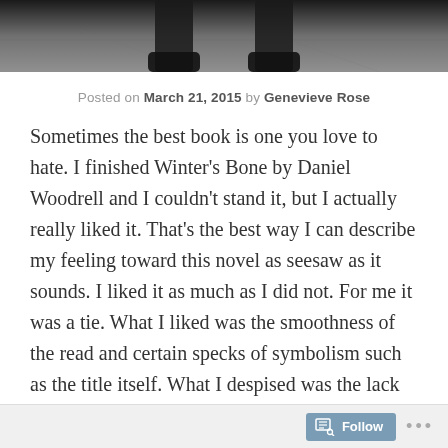[Figure (photo): Black and white photo of feet/legs at the top of the page, cropped header image]
Posted on March 21, 2015 by Genevieve Rose
Sometimes the best book is one you love to hate. I finished Winter's Bone by Daniel Woodrell and I couldn't stand it, but I actually really liked it. That's the best way I can describe my feeling toward this novel as seesaw as it sounds. I liked it as much as I did not. For me it was a tie. What I liked was the smoothness of the read and certain specks of symbolism such as the title itself. What I despised was the lack of rush and adrenaline that I expected from a story with meth in the plot. I think in my generation when we hear a story involving drugs we
Follow ...